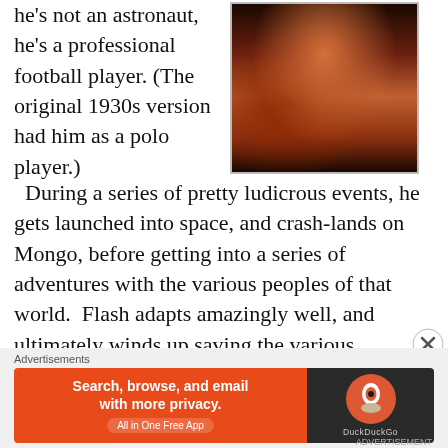he's not an astronaut, he's a professional football player. (The original 1930s version had him as a polo player.)   During a series of pretty ludicrous events, he gets launched into space, and crash-lands on Mongo, before getting into a series of adventures with the various peoples of that world.  Flash adapts amazingly well, and ultimately winds up saving the various different nations of Mongo from their evil overlord, Ming The Merciless.  There have been other versions of Flash's story, but the 1980 version is my
[Figure (photo): A photograph showing a performer in a dark costume with red accents, appearing to be on a stage or in a dramatic scene]
Advertisements
[Figure (screenshot): DuckDuckGo advertisement banner: 'Search, browse, and email with more privacy. All in One Free App' with DuckDuckGo logo on dark background]